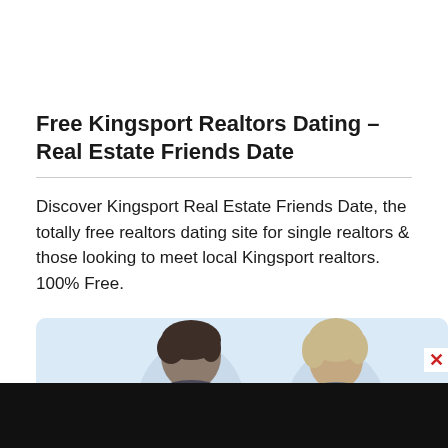Free Kingsport Realtors Dating - Real Estate Friends Date
Discover Kingsport Real Estate Friends Date, the totally free realtors dating site for single realtors & those looking to meet local Kingsport realtors. 100% Free.
[Figure (photo): Two people (a man with dark hair on the left and a woman with light/blonde hair on the right) shown from shoulders up against a light blue background, partially cropped at the bottom.]